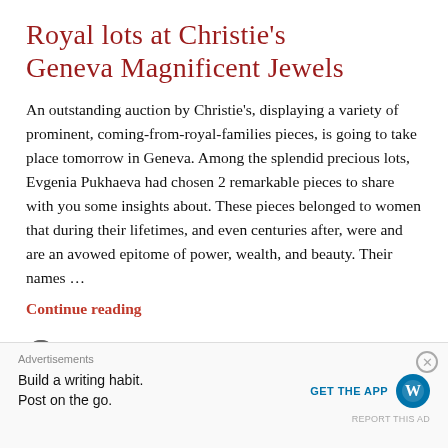Royal lots at Christie's Geneva Magnificent Jewels
An outstanding auction by Christie's, displaying a variety of prominent, coming-from-royal-families pieces, is going to take place tomorrow in Geneva. Among the splendid precious lots, Evgenia Pukhaeva had chosen 2 remarkable pieces to share with you some insights about. These pieces belonged to women that during their lifetimes, and even centuries after, were and are an avowed epitome of power, wealth, and beauty. Their names …
Continue reading
EVGENIA PUKHAEVA / 08.11.2021 / LEAVE A COMMENT
Advertisements
Build a writing habit. Post on the go.
GET THE APP